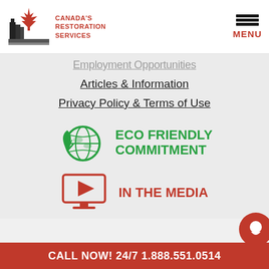[Figure (logo): Canada's Restoration Services logo with maple leaf and city silhouette, with red text 'CANADA'S RESTORATION SERVICES']
[Figure (other): Hamburger menu icon with three horizontal bars and red 'MENU' label]
Employment Opportunities
Articles & Information
Privacy Policy & Terms of Use
[Figure (logo): Eco friendly commitment icon: green globe with leaf, bold green text 'ECO FRIENDLY COMMITMENT']
[Figure (other): Red monitor/TV icon with play button, bold red text 'IN THE MEDIA']
Services
Emergency Flood & Water D...
CALL NOW! 24/7 1.888.551.0514